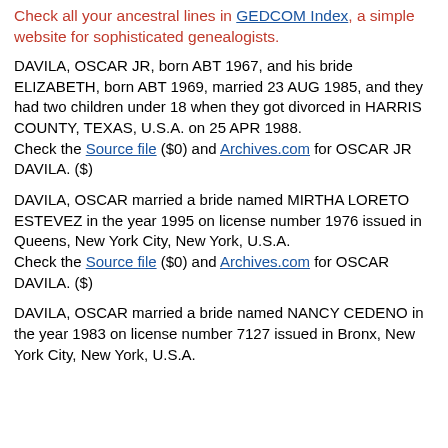Check all your ancestral lines in GEDCOM Index, a simple website for sophisticated genealogists.
DAVILA, OSCAR JR, born ABT 1967, and his bride ELIZABETH, born ABT 1969, married 23 AUG 1985, and they had two children under 18 when they got divorced in HARRIS COUNTY, TEXAS, U.S.A. on 25 APR 1988.
Check the Source file ($0) and Archives.com for OSCAR JR DAVILA. ($)
DAVILA, OSCAR married a bride named MIRTHA LORETO ESTEVEZ in the year 1995 on license number 1976 issued in Queens, New York City, New York, U.S.A.
Check the Source file ($0) and Archives.com for OSCAR DAVILA. ($)
DAVILA, OSCAR married a bride named NANCY CEDENO in the year 1983 on license number 7127 issued in Bronx, New York City, New York, U.S.A.